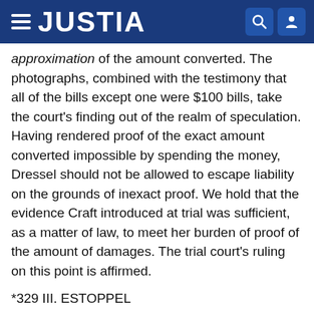JUSTIA
approximation of the amount converted. The photographs, combined with the testimony that all of the bills except one were $100 bills, take the court's finding out of the realm of speculation. Having rendered proof of the exact amount converted impossible by spending the money, Dressel should not be allowed to escape liability on the grounds of inexact proof. We hold that the evidence Craft introduced at trial was sufficient, as a matter of law, to meet her burden of proof of the amount of damages. The trial court's ruling on this point is affirmed.
*329 III. ESTOPPEL
The dispute over title to the cabin raises the issues of whether the doctrines of quasi estoppel and equitable estoppel may be applied to divest title to real property. Weeks, believing that Dressel's record title precluded